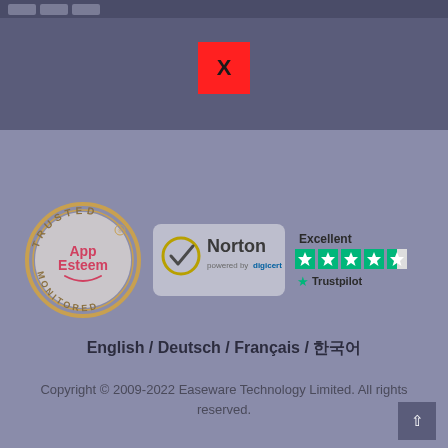[Figure (other): Red close/dismiss button with X in the center, displayed over a dark purple-blue header area]
[Figure (logo): AppEsteem Trusted Monitored badge - circular badge with gold/tan color]
[Figure (logo): Norton powered by DigiCert security seal with checkmark]
[Figure (logo): Trustpilot Excellent rating with 4.5 stars]
English / Deutsch / Français / 한국어
Copyright © 2009-2022 Easeware Technology Limited. All rights reserved.